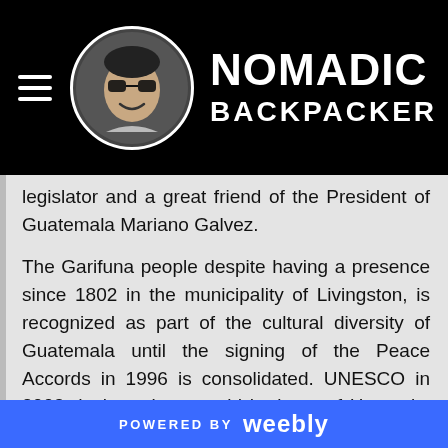NOMADIC BACKPACKER
legislator and a great friend of the President of Guatemala Mariano Galvez.
The Garifuna people despite having a presence since 1802 in the municipality of Livingston, is recognized as part of the cultural diversity of Guatemala until the signing of the Peace Accords in 1996 is consolidated. UNESCO in 2002 declares it as world heritage of Humanity some features of the Garifuna Cultural being those, dance, music and gastronomy.
At...
POWERED BY weebly